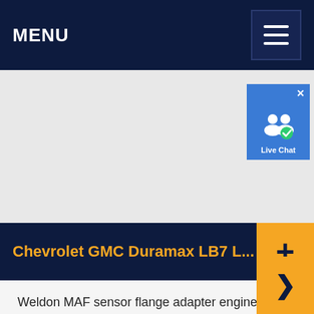MENU
[Figure (photo): Product photo area showing Chevrolet GMC Duramax LB7 MAF sensor flange adapter, light gray background]
[Figure (screenshot): Live Chat badge icon with blue background showing two user silhouettes and a checkmark]
Chevrolet GMC Duramax LB7 L...
Weldon MAF sensor flange adapter engineered to fit mass air flow sensor for 20012007 Chevy GMC trucks equipped with / Duramax engines. CNC Machined from 6061 billet aluminum; Flange designed to match the factory shape of sensor; Stainless steel hardware; Hand inspected for consistent high quality ; Suitable for welding, powder coating, anodizing or …